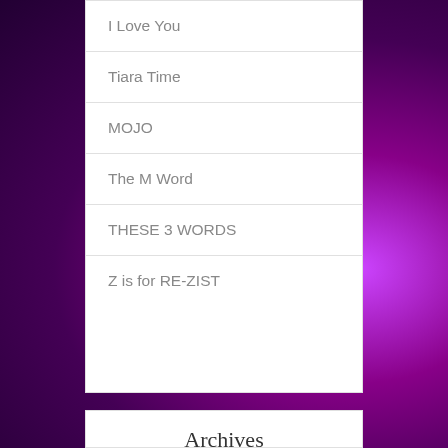I Love You
Tiara Time
MOJO
The M Word
THESE 3 WORDS
Z is for RE-ZIST
Archives
October 2016